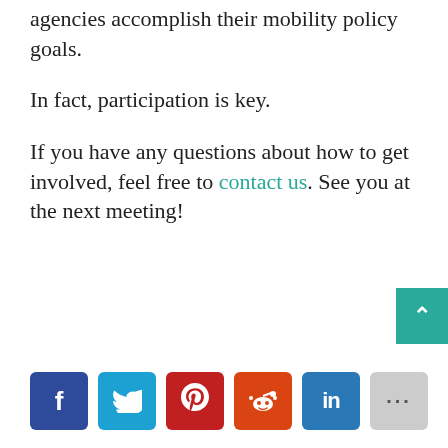agencies accomplish their mobility policy goals.
In fact, participation is key.
If you have any questions about how to get involved, feel free to contact us. See you at the next meeting!
[Figure (other): Social sharing buttons row: Facebook (blue), Twitter (light blue), Pinterest (red), Reddit (orange-red), LinkedIn (blue), More/ellipsis (gray)]